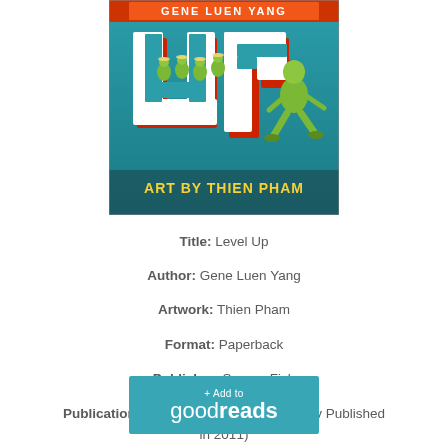[Figure (illustration): Book cover of 'Level Up' with large green 3D letters 'UP', small angel-like characters near the letters, a running man in green, and text 'ART BY THIEN PHAM' on a teal background]
Title: Level Up
Author: Gene Luen Yang
Artwork: Thien Pham
Format: Paperback
Publisher: Square Fish
Publication Date: July 19, 2016 (Originally Published in 2011)
Source: Library
[Figure (logo): + Add to goodreads button in teal/cyan color]